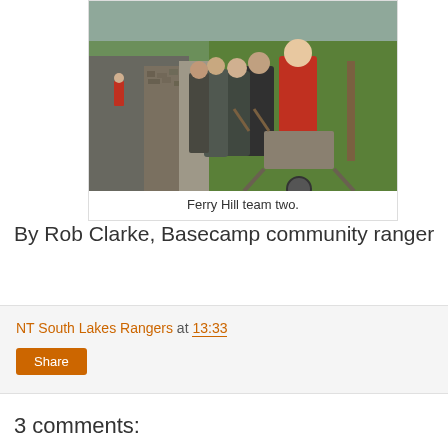[Figure (photo): Group of people with a wheelbarrow on a path next to a dry stone wall, with green fields and trees in the background. Autumn setting, overcast sky.]
Ferry Hill team two.
By Rob Clarke, Basecamp community ranger
NT South Lakes Rangers at 13:33
Share
3 comments: